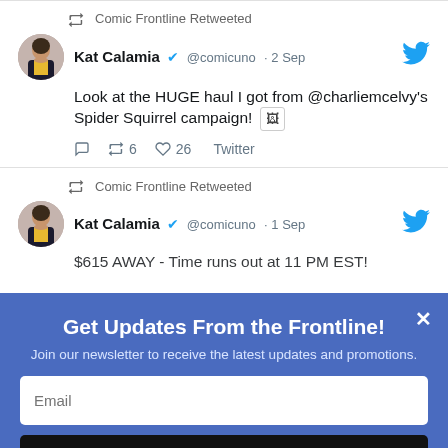Comic Frontline Retweeted
Kat Calamia @comicuno · 2 Sep
Look at the HUGE haul I got from @charliemcelvy's Spider Squirrel campaign! [image]
6  26  Twitter
Comic Frontline Retweeted
Kat Calamia @comicuno · 1 Sep
$615 AWAY - Time runs out at 11 PM EST!
Get Updates From the Frontline!
Join our newsletter to receive the latest updates and promotions.
SUBSCRIBE